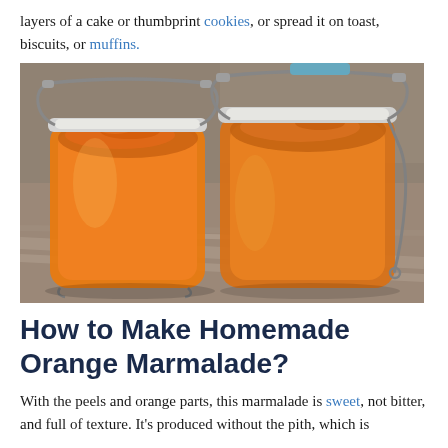layers of a cake or thumbprint cookies, or spread it on toast, biscuits, or muffins.
[Figure (photo): Two glass mason jars with wire bail latch lids filled with orange marmalade, photographed on a stone surface.]
How to Make Homemade Orange Marmalade?
With the peels and orange parts, this marmalade is sweet, not bitter, and full of texture. It's produced without the pith, which is